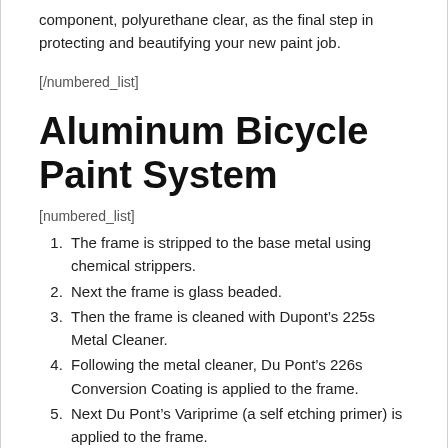component, polyurethane clear, as the final step in protecting and beautifying your new paint job.
[/numbered_list]
Aluminum Bicycle Paint System
[numbered_list]
The frame is stripped to the base metal using chemical strippers.
Next the frame is glass beaded.
Then the frame is cleaned with Dupont’s 225s Metal Cleaner.
Following the metal cleaner, Du Pont’s 226s Conversion Coating is applied to the frame.
Next Du Pont’s Variprime (a self etching primer) is applied to the frame.